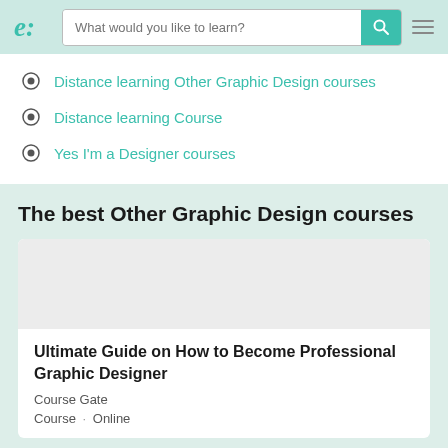e: [logo] | What would you like to learn? [search bar]
Distance learning Other Graphic Design courses
Distance learning Course
Yes I'm a Designer courses
The best Other Graphic Design courses
Ultimate Guide on How to Become Professional Graphic Designer
Course Gate
Course · Online